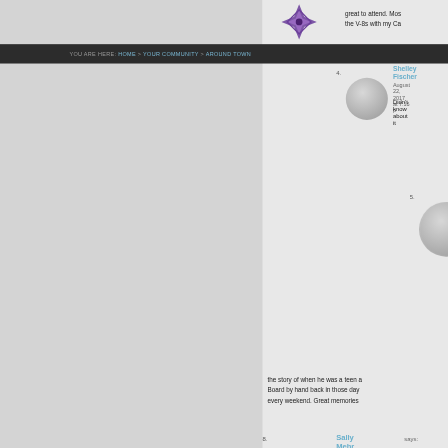YOU ARE HERE: HOME > YOUR COMMUNITY > AROUND TOWN
great to attend. Most people remember the V-8s with my Ca
great times.
4. Shelley Fischer says: August 22, 2017 at 7:16 p — Didn't know about it
5. Kortin — August 2 — Steve MacLa
6. [avatar]
the story of when he was a teen a Board by hand back in those day every weekend. Great memories
8. Sally Mehr says: